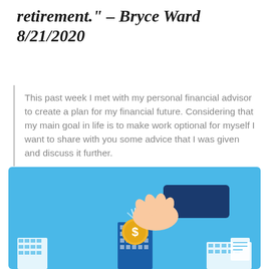retirement." – Bryce Ward 8/21/2020
This past week I met with my personal financial advisor to create a plan for my financial future. Considering that my main goal in life is to make work optional for myself I want to share with you some advice that I was given and discuss it further.
[Figure (illustration): Illustration of a hand in a business suit dropping a gold dollar coin into a city building, with a light blue background and white city skyline silhouette at the bottom.]